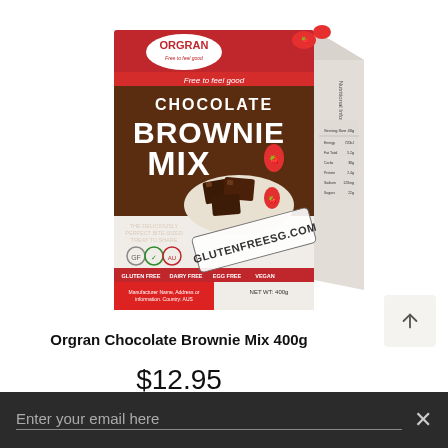[Figure (photo): Orgran Chocolate Brownie Mix 400g product box. Red and brown packaging with ORGRAN logo at top. Large text reads CHOCOLATE BROWNIE MIX. Shows brownies on a white plate with strawberries. Labels: GLUTEN FREE, DAIRY FREE, EGG FREE, VEGAN. Watermark reads GLUTENFREESG.COM.]
Orgran Chocolate Brownie Mix 400g
$12.95
Enter your email here